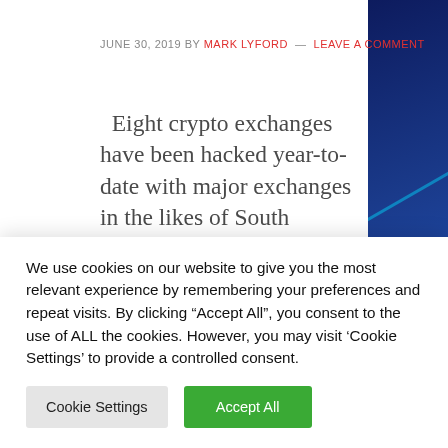JUNE 30, 2019 BY MARK LYFORD — LEAVE A COMMENT
Eight crypto exchanges have been hacked year-to-date with major exchanges in the likes of South Korea's Bithumb reporting high-profile security breaches. In the upcoming months, despite the emergence of highly sophisticated technologies and tools employed by hackers, it may become significantly more difficult to hack into crypto exchanges. Why hacking
We use cookies on our website to give you the most relevant experience by remembering your preferences and repeat visits. By clicking "Accept All", you consent to the use of ALL the cookies. However, you may visit 'Cookie Settings' to provide a controlled consent.